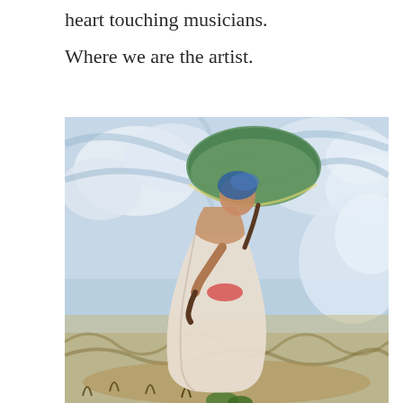heart touching musicians.
Where we are the artist.
[Figure (illustration): Impressionist painting of a woman in a white dress holding a green parasol/umbrella, standing in a field with a cloudy sky background. Style resembling Monet's 'Woman with a Parasol'.]